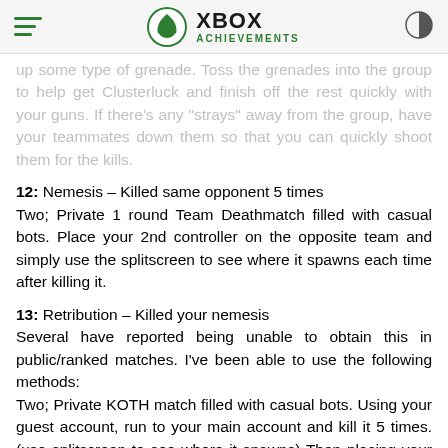XBOX ACHIEVEMENTS
up some type of grenade. Toss the grenades into the group to help get Clusterluck and finish off the rest quickly with your guns. If there's any "strays" away from the group, have your teammates down them so that you can quickly shoot them for the kills.
12: Nemesis – Killed same opponent 5 times
Two; Private 1 round Team Deathmatch filled with casual bots. Place your 2nd controller on the opposite team and simply use the splitscreen to see where it spawns each time after killing it.
13: Retribution – Killed your nemesis
Several have reported being unable to obtain this in public/ranked matches. I've been able to use the following methods:
Two; Private KOTH match filled with casual bots. Using your guest account, run to your main account and kill it 5 times. (use splitscreen to see where it spawns) Then placing your guest account away from all the action (current spawn and